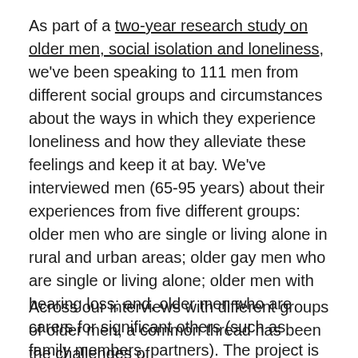As part of a two-year research study on older men, social isolation and loneliness, we've been speaking to 111 men from different social groups and circumstances about the ways in which they experience loneliness and how they alleviate these feelings and keep it at bay. We've interviewed men (65-95 years) about their experiences from five different groups: older men who are single or living alone in rural and urban areas; older gay men who are single or living alone; older men with hearing loss; and, older men who are carers for significant others (such as family members, partners). The project is funded by the NIHR School for Social Care Research to April 2019 and in collaboration with Age UK.
Across our interviews with different groups of older men, a common thread has been the challenges of...